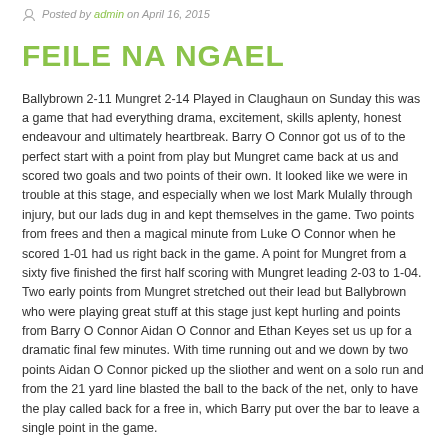Posted by admin on April 16, 2015
FEILE NA NGAEL
Ballybrown 2-11 Mungret 2-14 Played in Claughaun on Sunday this was a game that had everything drama, excitement, skills aplenty, honest endeavour and ultimately heartbreak. Barry O Connor got us of to the perfect start with a point from play but Mungret came back at us and scored two goals and two points of their own. It looked like we were in trouble at this stage, and especially when we lost Mark Mulally through injury, but our lads dug in and kept themselves in the game. Two points from frees and then a magical minute from Luke O Connor when he scored 1-01 had us right back in the game. A point for Mungret from a sixty five finished the first half scoring with Mungret leading 2-03 to 1-04. Two early points from Mungret stretched out their lead but Ballybrown who were playing great stuff at this stage just kept hurling and points from Barry O Connor Aidan O Connor and Ethan Keyes set us up for a dramatic final few minutes. With time running out and we down by two points Aidan O Connor picked up the sliother and went on a solo run and from the 21 yard line blasted the ball to the back of the net, only to have the play called back for a free in, which Barry put over the bar to leave a single point in the game.